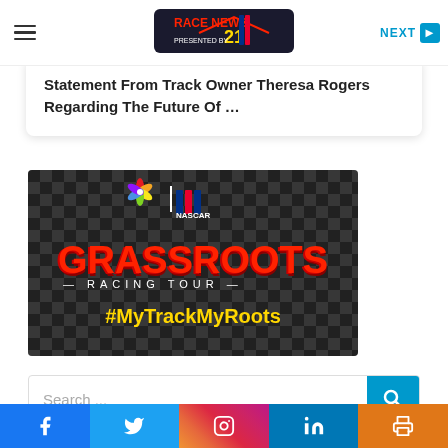NEXT
Statement From Track Owner Theresa Rogers Regarding The Future Of …
[Figure (photo): Grassroots Racing Tour promotional banner with NBC logo and NASCAR logo, large red text 'GRASSROOTS RACING TOUR' on checkered flag background, yellow text '#MyTrackMyRoots']
Search ...
Facebook | Twitter | Instagram | LinkedIn | Print